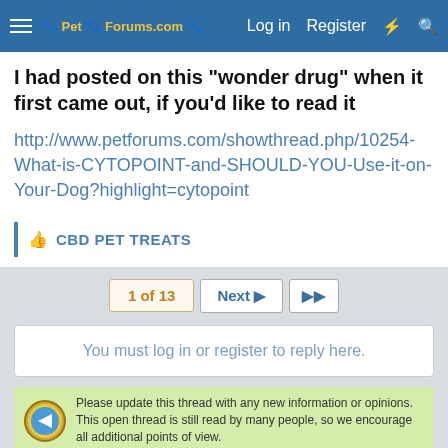Pet Forums — Log in  Register
I had posted on this "wonder drug" when it first came out, if you'd like to read it
http://www.petforums.com/showthread.php/10254-What-is-CYTOPOINT-and-SHOULD-YOU-Use-it-on-Your-Dog?highlight=cytopoint
CBD PET TREATS
1 of 13  Next  ▶▶
You must log in or register to reply here.
Please update this thread with any new information or opinions. This open thread is still read by many people, so we encourage all additional points of view.